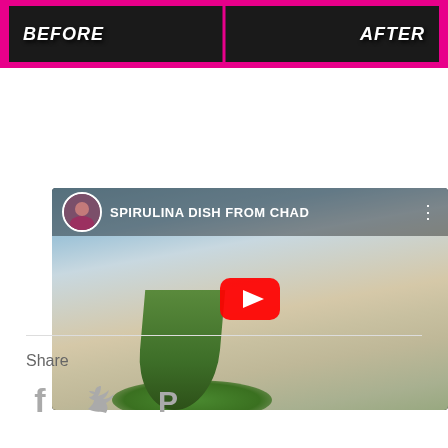[Figure (screenshot): Before and After banner image with hot pink background and dark image content showing before/after comparison with bold italic white text labels]
[Figure (screenshot): YouTube video embed thumbnail for 'SPIRULINA DISH FROM CHAD' showing a person harvesting green spirulina in a dry landscape, with channel avatar, title text, three-dot menu, and red YouTube play button overlay]
Share
[Figure (infographic): Social sharing icons: Facebook (f), Twitter (bird), Pinterest (P)]